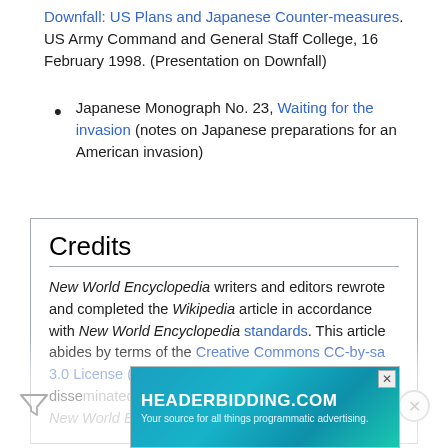Stangr, ed., Dennis t.h., Transcript of Operation Downfall: US Plans and Japanese Counter-measures. US Army Command and General Staff College, 16 February 1998. (Presentation on Downfall)
Japanese Monograph No. 23, Waiting for the invasion (notes on Japanese preparations for an American invasion)
Credits
New World Encyclopedia writers and editors rewrote and completed the Wikipedia article in accordance with New World Encyclopedia standards. This article abides by terms of the Creative Commons CC-by-sa 3.0 License (CC-by-sa), which may be used and disseminated under the terms of the New World Encyclopedia contributors and the selfless